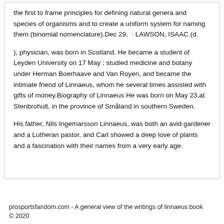the first to frame principles for defining natural genera and species of organisms and to create a uniform system for naming them (binomial nomenclature).Dec 29,  · LAWSON, ISAAC (d.
), physician, was born in Scotland. He became a student of Leyden University on 17 May ; studied medicine and botany under Herman Boerhaave and Van Royen, and became the intimate friend of Linnaeus, whom he several times assisted with gifts of money.Biography of Linnaeus He was born on May 23,at Stenbrohult, in the province of Småland in southern Sweden.
His father, Nils Ingemarsson Linnaeus, was both an avid gardener and a Lutheran pastor, and Carl showed a deep love of plants and a fascination with their names from a very early age.
prosportsfandom.com - A general view of the writings of linnaeus book
© 2020